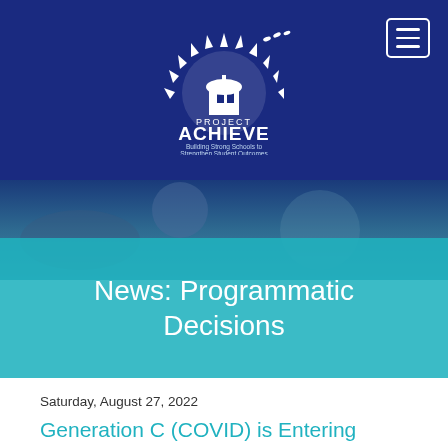[Figure (logo): Project ACHIEVE logo — white sun/building emblem with text 'PROJECT ACHIEVE' and tagline 'Building Strong Schools to Strengthen Student Outcomes' on a dark blue background]
[Figure (photo): Banner image of smiling child partially visible, muted blue tones behind a teal overlay banner]
News: Programmatic Decisions
Saturday, August 27, 2022
Generation C (COVID) is Entering School with Significant Language, Academic and Social Delays